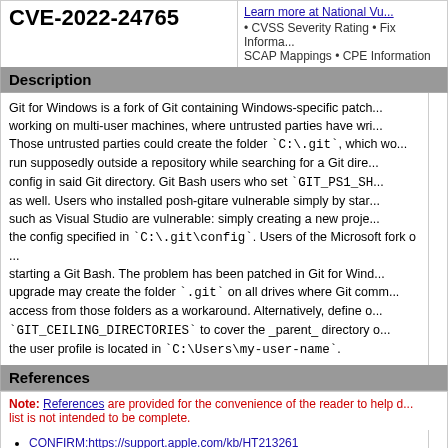CVE-2022-24765
Learn more at National Vu... • CVSS Severity Rating • Fix Information • SCAP Mappings • CPE Information
Description
Git for Windows is a fork of Git containing Windows-specific patches working on multi-user machines, where untrusted parties have write access to the same drive. Those untrusted parties could create the folder `C:\.git`, which would be picked up by Git operations run supposedly outside a repository while searching for a Git directory. Using a specially crafted config in said Git directory. Git Bash users who set `GIT_PS1_SH... as well. Users who installed posh-gitare vulnerable simply by starting a... such as Visual Studio are vulnerable: simply creating a new project causes the config specified in `C:\.git\config`. Users of the Microsoft fork of ... starting a Git Bash. The problem has been patched in Git for Wind... upgrade may create the folder `.git` on all drives where Git commands are run. Remove access from those folders as a workaround. Alternatively, define one or more `GIT_CEILING_DIRECTORIES` to cover the _parent_ directory of where the user profile is located in `C:\Users\my-user-name`.
References
Note: References are provided for the convenience of the reader to help distinguish between vulnerabilities. The list is not intended to be complete.
CONFIRM:https://support.apple.com/kb/HT213261
CONFIRM:https://github.com/git-for-windows/git/security/ad...
URL:https://github.com/git-for-windows/git/security/advisorie...
FEDORA:FEDORA-2022-2a5de7cb8b